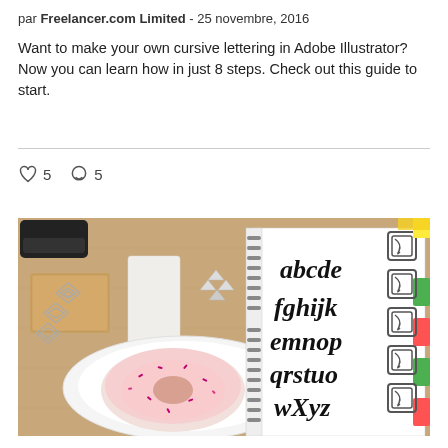par Freelancer.com Limited - 25 novembre, 2016
Want to make your own cursive lettering in Adobe Illustrator? Now you can learn how in just 8 steps. Check out this guide to start.
♡ 5   ○ 5
[Figure (photo): Top-down photo of a wooden desk with a spiral-bound notebook open showing cursive lettering of the alphabet (abcde fghijk emnop qrstuo wXyz), a pink frosted donut on a white plate, a white eraser, decorative stamps, push pins, paper tabs, and a black stapler. On the right side are square spiral stamp icons and colorful tabs (green, red).]